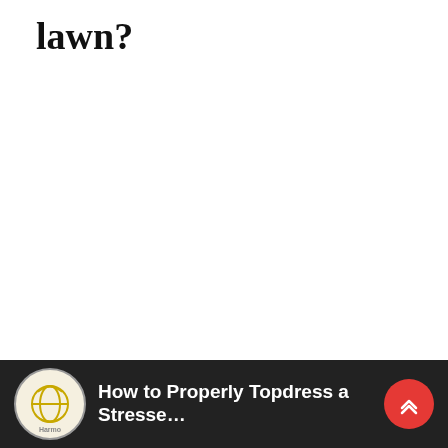lawn?
[Figure (other): Advertisement placeholder box with rounded corners and the text 'ad' in light gray]
[Figure (other): Video thumbnail bar at bottom: dark background showing a logo for 'Harmo' and title 'How to Properly Topdress a Stresse...' with a red scroll-up button]